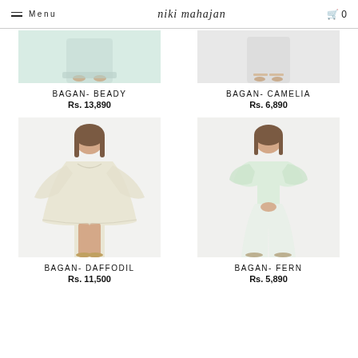Menu | niki mahajan | 0
[Figure (photo): Cropped bottom portion of model wearing light mint/white outfit - BAGAN BEADY product]
BAGAN- BEADY
Rs. 13,890
[Figure (photo): Cropped bottom portion of model wearing light outfit - BAGAN CAMELIA product]
BAGAN- CAMELIA
Rs. 6,890
[Figure (photo): Full photo of model wearing white/cream flowy kaftan-style dress - BAGAN DAFFODIL product]
BAGAN- DAFFODIL
Rs. 11,500
[Figure (photo): Full photo of model wearing mint/white coordinated outfit with wide pants - BAGAN FERN product]
BAGAN- FERN
Rs. 5,890